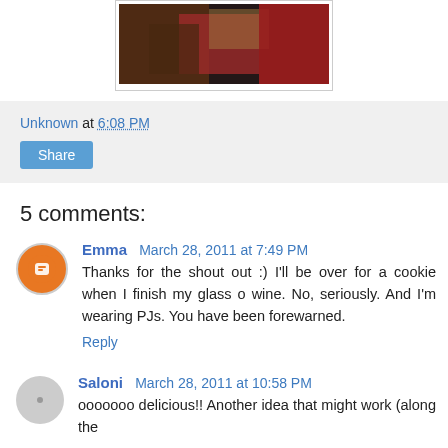[Figure (photo): Partial photo of items with red fabric/clothing, shown inside a bordered frame]
Unknown at 6:08 PM
Share
5 comments:
Emma March 28, 2011 at 7:49 PM
Thanks for the shout out :) I'll be over for a cookie when I finish my glass o wine. No, seriously. And I'm wearing PJs. You have been forewarned.
Reply
Saloni March 28, 2011 at 10:58 PM
ooooooo delicious!! Another idea that might work (along the